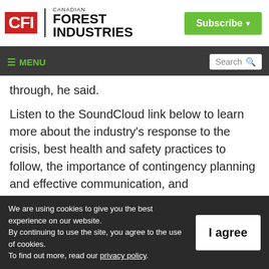Canadian Forest Industries | CFI — Subscribe
≡ MENU | Search
through, he said.
Listen to the SoundCloud link below to learn more about the industry's response to the crisis, best health and safety practices to follow, the importance of contingency planning and effective communication, and
We are using cookies to give you the best experience on our website.
By continuing to use the site, you agree to the use of cookies.
To find out more, read our privacy policy.